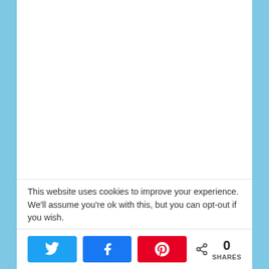[Figure (photo): White/blank image area at top of page]
I know my daughter is only 3 but I get so excited at the mere thought of her starting activities. We started going at an early age to classes such as Itsy Bitty Yoga, Mom and Me Yoga, and Signing Time. While I really enjoyed going to these classes and meeting my mommy friends there, I don't think Hayley really remembers them. I know they were great for her to be involved but we could
This website uses cookies to improve your experience. We'll assume you're ok with this, but you can opt-out if you wish.